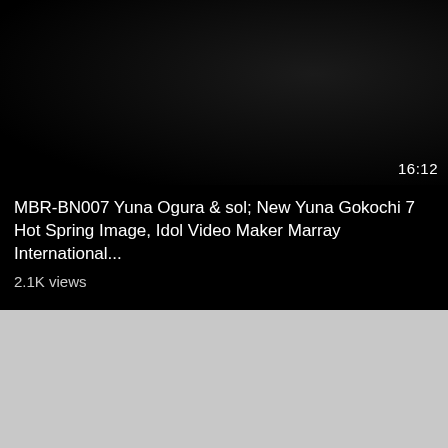[Figure (screenshot): Dark video thumbnail showing a dimly lit scene with a duration timestamp of 16:12 in the bottom right corner]
MBR-BN007 Yuna Ogura & sol; New Yuna Gokochi 7 Hot Spring Image, Idol Video Maker Marray International...
2.1K views
[Figure (photo): Light gray video thumbnail placeholder]